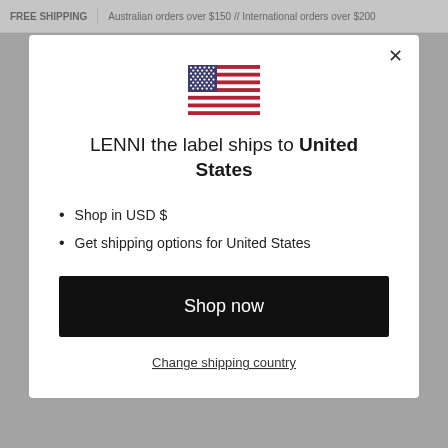FREE SHIPPING  |  Australian orders over $150 // International orders over $200
[Figure (illustration): US flag icon shown in the modal dialog]
LENNI the label ships to United States
Shop in USD $
Get shipping options for United States
Shop now
Change shipping country